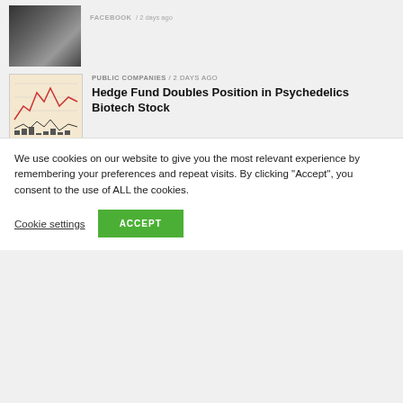[Figure (photo): Black and white photo of a person]
FACEBOOK / 2 days ago
[Figure (photo): Stock chart thumbnail image]
Hedge Fund Doubles Position in Psychedelics Biotech Stock
PUBLIC COMPANIES / 2 days ago
TRENDING
[Figure (photo): Technology / digital marketing photo with blue background]
LAW & REGULATION / 22 hours ago
AesirX DMA – Digital Marketing Automation Delivers Enterprise-Level Backend as a
We use cookies on our website to give you the most relevant experience by remembering your preferences and repeat visits. By clicking "Accept", you consent to the use of ALL the cookies.
Cookie settings
ACCEPT